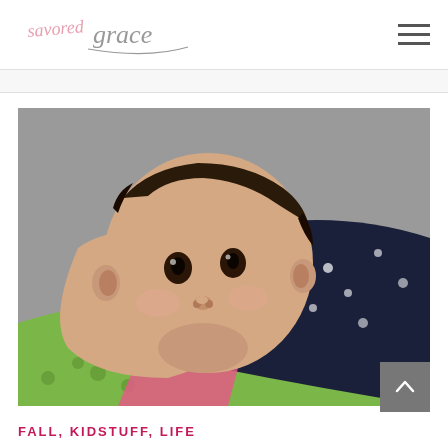savored grace
[Figure (photo): Close-up photo of a newborn baby lying on a green polka-dot surface, wearing a dark navy outfit with white hearts, with a pink garment visible. The baby has dark hair and is looking slightly off-camera.]
FALL, KIDSTUFF, LIFE